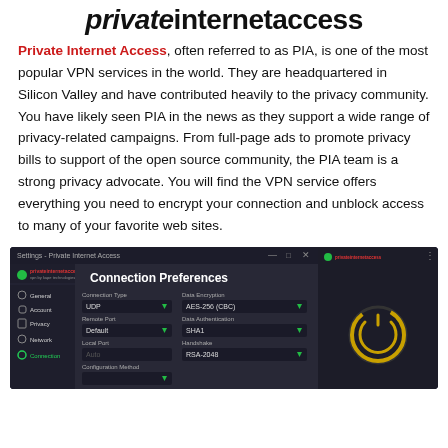privateinternetaccess
Private Internet Access, often referred to as PIA, is one of the most popular VPN services in the world. They are headquartered in Silicon Valley and have contributed heavily to the privacy community. You have likely seen PIA in the news as they support a wide range of privacy-related campaigns. From full-page ads to promote privacy bills to support of the open source community, the PIA team is a strong privacy advocate. You will find the VPN service offers everything you need to encrypt your connection and unblock access to many of your favorite web sites.
[Figure (screenshot): Screenshot of Private Internet Access desktop settings window showing Connection Preferences with fields for Connection Type (UDP), Remote Port (Default), Local Port (Auto), Configuration Method, Data Encryption (AES-256 CBC), Data Authentication (SHA1), and Handshake (RSA-2048). On the right side is the mobile app showing the logo and a power button with a golden ring.]